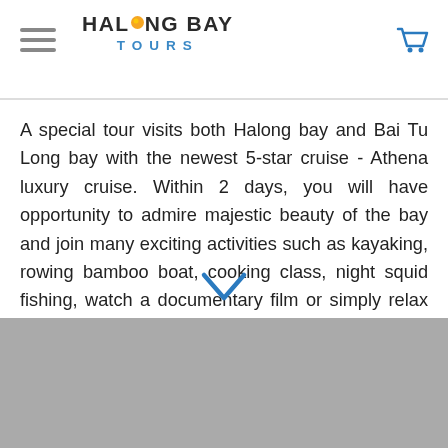Halong Bay Tours
A special tour visits both Halong bay and Bai Tu Long bay with the newest 5-star cruise - Athena luxury cruise. Within 2 days, you will have opportunity to admire majestic beauty of the bay and join many exciting activities such as kayaking, rowing bamboo boat, cooking class, night squid fishing, watch a documentary film or simply relax on roof top deck. This trip sur…
[Figure (other): Gray placeholder image area for tour photo]